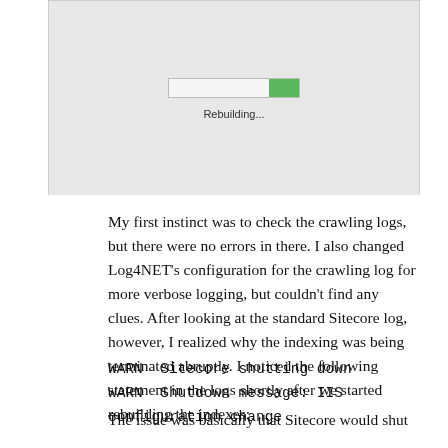[Figure (screenshot): A screenshot showing a progress bar with a small amount filled (green) on the right side, and text below it reading 'Rebuilding...']
My first instinct was to check the crawling logs, but there were no errors in there. I also changed Log4NET's configuration for the crawling log for more verbose logging, but couldn't find any clues. After looking at the standard Sitecore log, however, I realized why the indexing was being terminated abruptly. I noticed the following statement in the logs shortly after we started rebuilding the indexes:
WARN  Sitecore shutting down
WARN  Shutdown message: IIS configuration change
The issue was basically that Sitecore would shut down thinking that a configuration change